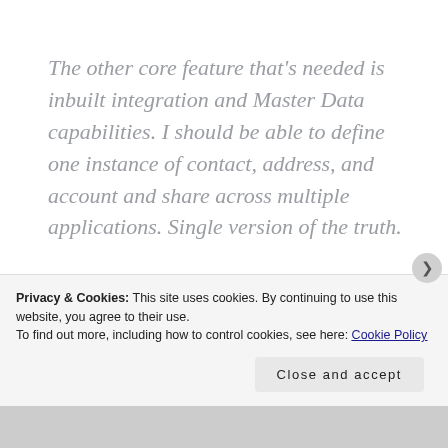The other core feature that's needed is inbuilt integration and Master Data capabilities. I should be able to define one instance of contact, address, and account and share across multiple applications. Single version of the truth.
It will be interesting to see how things
Privacy & Cookies: This site uses cookies. By continuing to use this website, you agree to their use.
To find out more, including how to control cookies, see here: Cookie Policy
Close and accept